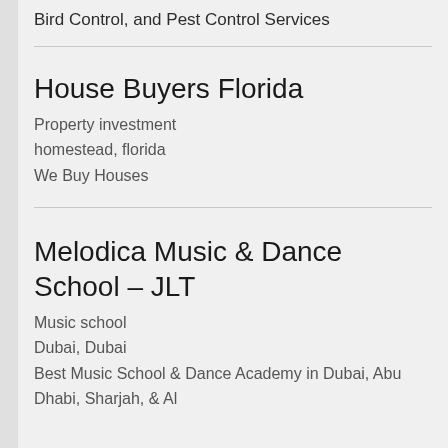Bird Control, and Pest Control Services
House Buyers Florida
Property investment
homestead, florida
We Buy Houses
Melodica Music & Dance School – JLT
Music school
Dubai, Dubai
Best Music School & Dance Academy in Dubai, Abu Dhabi, Sharjah, & Al